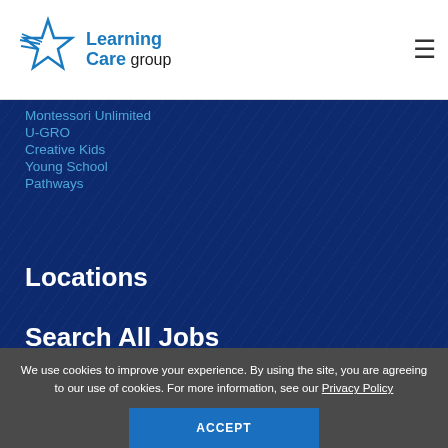[Figure (logo): Learning Care Group logo with blue star icon and company name]
Montessori Unlimited
U-GRO
Creative Kids
Young School
Pathways
Locations
Search All Jobs
We use cookies to improve your experience. By using the site, you are agreeing to our use of cookies. For more information, see our Privacy Policy